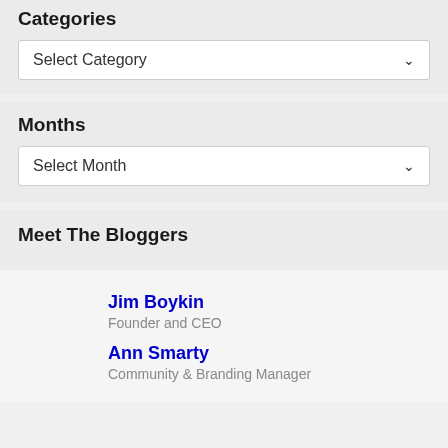Categories
Select Category
Months
Select Month
Meet The Bloggers
Jim Boykin
Founder and CEO
Ann Smarty
Community & Branding Manager